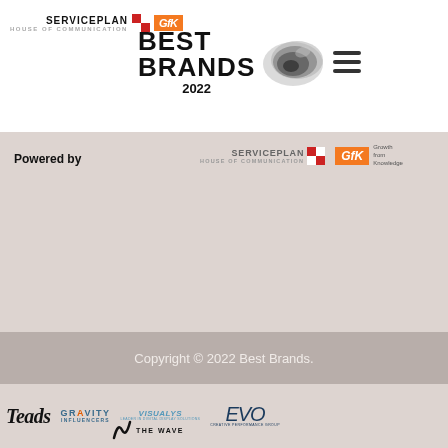[Figure (logo): Serviceplan House of Communication and GfK combined logo at top left]
[Figure (logo): Best Brands 2022 logo with shell graphic and hamburger menu icon]
Powered by
[Figure (logo): Serviceplan House of Communication logo (gray) and GfK Growth from Knowledge orange logo]
Copyright © 2022 Best Brands.
[Figure (logo): Partner logos: Teads, Gravity Influencers, Visualys, EVO Creative Performance Group, The Wave (partial)]